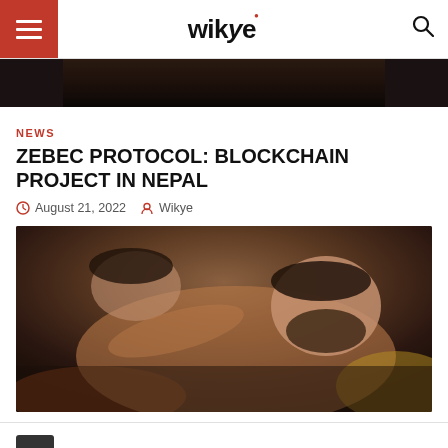wikye
[Figure (photo): Dark top image strip, partially cropped]
NEWS
ZEBEC PROTOCOL: BLOCKCHAIN PROJECT IN NEPAL
August 21, 2022   Wikye
[Figure (photo): Photo of two men lying down, one bearded, in a dimly lit room with textured fabric]
<